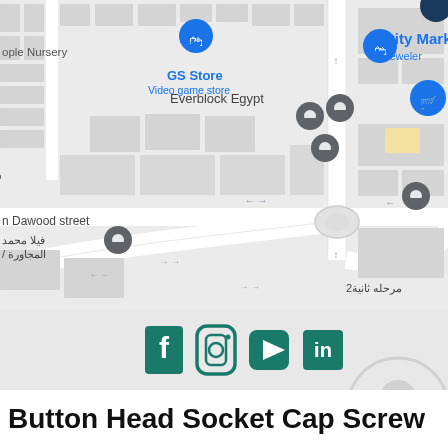[Figure (map): Google Maps screenshot showing streets in Egypt with location pins for GS Store (Video game store), Everblock Egypt, City Market, Jeweler, and Arabic-labeled locations including فيلا 40 طلعت دسوقي, n Dawood street, فيلا محمد / المجاورة, and 2مرحله ثانية25. Multiple blue and grey map pins visible on a light grey street map.]
[Figure (infographic): Social media icons bar: Facebook (f), Instagram (camera), YouTube (play button), LinkedIn (in) in teal/dark teal colors on light grey background. A WhatsApp circle icon partially visible on bottom right.]
Button Head Socket Cap Screw